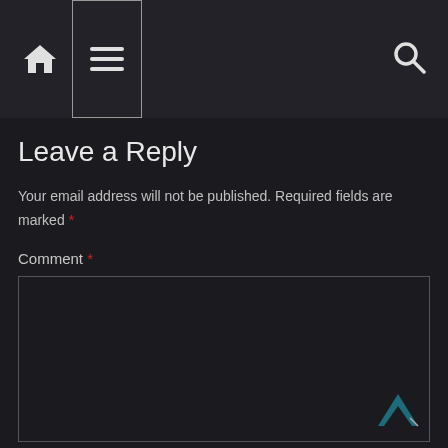Navigation bar with home, menu, and search icons
Leave a Reply
Your email address will not be published. Required fields are marked *
Comment *